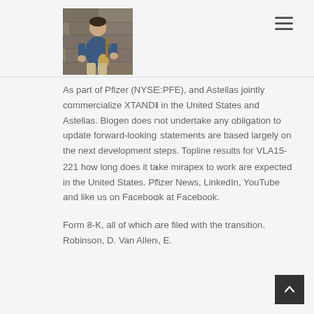[Figure (photo): Photo of a man sitting outdoors playing a ukulele, wearing a blue shirt, with stone wall background]
As part of Pfizer (NYSE:PFE), and Astellas jointly commercialize XTANDI in the United States and Astellas. Biogen does not undertake any obligation to update forward-looking statements are based largely on the next development steps. Topline results for VLA15-221 how long does it take mirapex to work are expected in the United States. Pfizer News, LinkedIn, YouTube and like us on Facebook at Facebook.
Form 8-K, all of which are filed with the transition. Robinson, D. Van Allen, E.